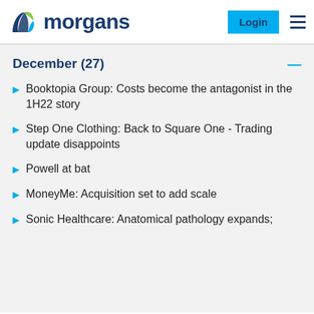morgans | Login
December (27)
Booktopia Group: Costs become the antagonist in the 1H22 story
Step One Clothing: Back to Square One - Trading update disappoints
Powell at bat
MoneyMe: Acquisition set to add scale
Sonic Healthcare: Anatomical pathology expands;